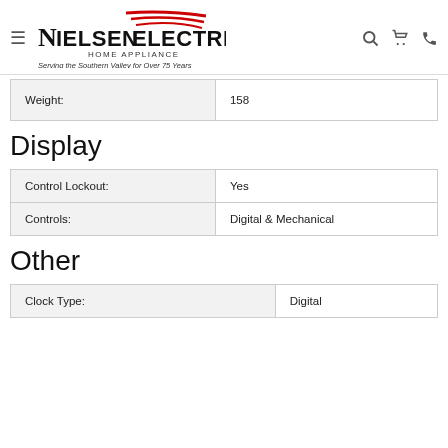[Figure (logo): Nielsen Electric Home Appliance logo with tagline 'Serving the Southern Valley for Over 75 Years']
| Weight: | 158 |
| --- | --- |
Display
| Control Lockout: | Yes |
| Controls: | Digital & Mechanical |
Other
| Clock Type: | Digital |